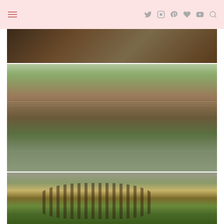Blog/lifestyle website header with hamburger menu and social media icons (Twitter, Instagram, Pinterest, Heart/Bloglovin, YouTube, Search)
[Figure (photo): Partial photo at top showing dark brown wood/animal texture, cropped view]
[Figure (photo): Zoo enclosure photo showing animals behind mesh netting with branches, logs, and green plants visible]
[Figure (photo): Close-up photo of a large patterned snake (python/boa) with yellow and black markings, green tree/foliage in background, people visible]